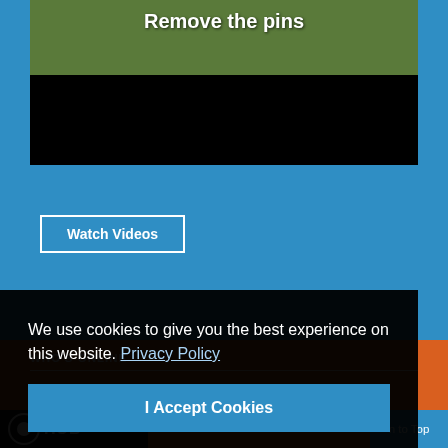[Figure (screenshot): Video thumbnail showing text 'Remove the pins' over outdoor grass background with a black bar beneath]
Watch Videos
WHO'S ONLINE
We have 37 guests and no members online
We use cookies to give you the best experience on this website. Privacy Policy
I Accept Cookies
n to Top
[Figure (logo): GHuB logo at bottom left]